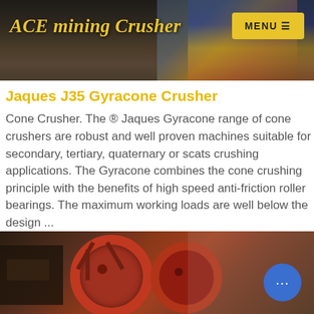ACE mining Crusher
[Figure (photo): Website header with dark industrial/mining background image and yellow MENU button]
Jaques J35 Gyracone Crusher
Cone Crusher. The ® Jaques Gyracone range of cone crushers are robust and well proven machines suitable for secondary, tertiary, quaternary or scats crushing applications. The Gyracone combines the cone crushing principle with the benefits of high speed anti-friction roller bearings. The maximum working loads are well below the design ...
Contact us
[Figure (photo): Bottom photo showing red industrial crusher/mining equipment with large flywheel and machinery components]